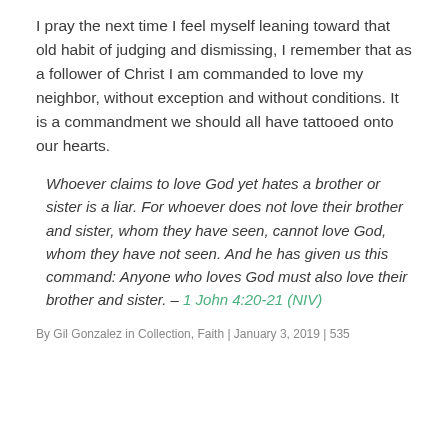I pray the next time I feel myself leaning toward that old habit of judging and dismissing, I remember that as a follower of Christ I am commanded to love my neighbor, without exception and without conditions. It is a commandment we should all have tattooed onto our hearts.
Whoever claims to love God yet hates a brother or sister is a liar. For whoever does not love their brother and sister, whom they have seen, cannot love God, whom they have not seen. And he has given us this command: Anyone who loves God must also love their brother and sister. – 1 John 4:20-21 (NIV)
By Gil Gonzalez in Collection, Faith | January 3, 2019 | 535